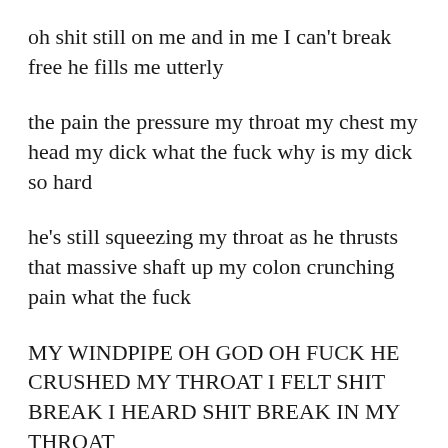oh shit still on me and in me I can’t break free he fills me utterly
the pain the pressure my throat my chest my head my dick what the fuck why is my dick so hard
he’s still squeezing my throat as he thrusts that massive shaft up my colon crunching pain what the fuck
MY WINDPIPE OH GOD OH FUCK HE CRUSHED MY THROAT I FELT SHIT BREAK I HEARD SHIT BREAK IN MY THROAT